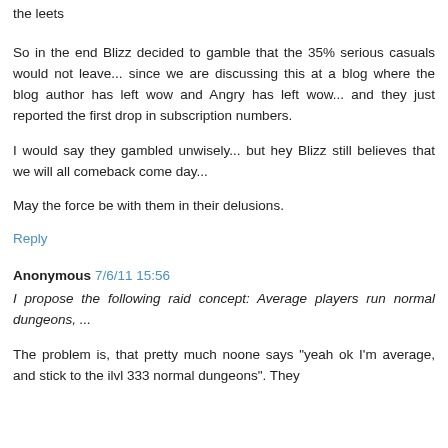the leets
So in the end Blizz decided to gamble that the 35% serious casuals would not leave... since we are discussing this at a blog where the blog author has left wow and Angry has left wow... and they just reported the first drop in subscription numbers.
I would say they gambled unwisely... but hey Blizz still believes that we will all comeback come day...
May the force be with them in their delusions.
Reply
Anonymous 7/6/11 15:56
I propose the following raid concept: Average players run normal dungeons, ...
The problem is, that pretty much noone says "yeah ok I'm average, and stick to the ilvl 333 normal dungeons". They